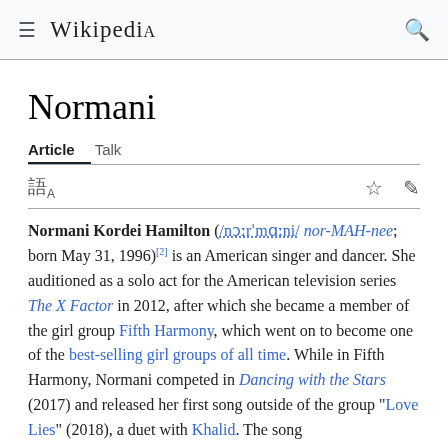Wikipedia
Normani
Article  Talk
Normani Kordei Hamilton (/nɔːrˈmɑːni/ nor-MAH-nee; born May 31, 1996)[2] is an American singer and dancer. She auditioned as a solo act for the American television series The X Factor in 2012, after which she became a member of the girl group Fifth Harmony, which went on to become one of the best-selling girl groups of all time. While in Fifth Harmony, Normani competed in Dancing with the Stars (2017) and released her first song outside of the group "Love Lies" (2018), a duet with Khalid. The song